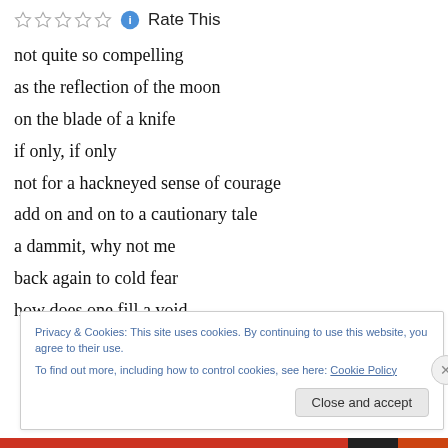Rate This
not quite so compelling
as the reflection of the moon
on the blade of a knife
if only, if only
not for a hackneyed sense of courage
add on and on to a cautionary tale
a dammit, why not me
back again to cold fear
how does one fill a void
Privacy & Cookies: This site uses cookies. By continuing to use this website, you agree to their use. To find out more, including how to control cookies, see here: Cookie Policy
Close and accept